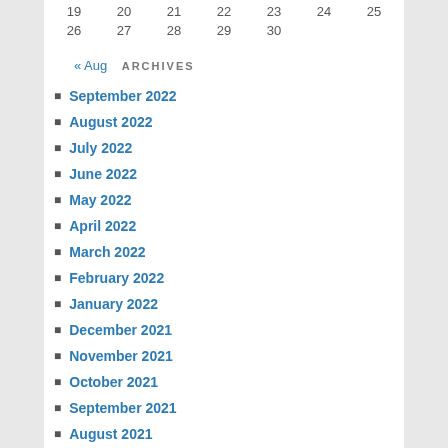| 19 | 20 | 21 | 22 | 23 | 24 | 25 |
| 26 | 27 | 28 | 29 | 30 |  |  |
« Aug
ARCHIVES
September 2022
August 2022
July 2022
June 2022
May 2022
April 2022
March 2022
February 2022
January 2022
December 2021
November 2021
October 2021
September 2021
August 2021
July 2021
June 2021